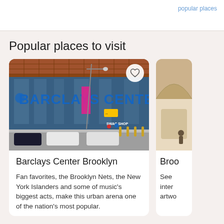Popular places to visit
[Figure (photo): Exterior photo of Barclays Center Brooklyn showing the glass facade with large BARCLAYS CENTER signage, street view with cars and bollards, heart/favorite button in top right corner]
Barclays Center Brooklyn
Fan favorites, the Brooklyn Nets, the New York Islanders and some of music's biggest acts, make this urban arena one of the nation's most popular.
[Figure (photo): Partial view of a second place card, cropped, showing interior architectural details]
Broo
See inter artwo